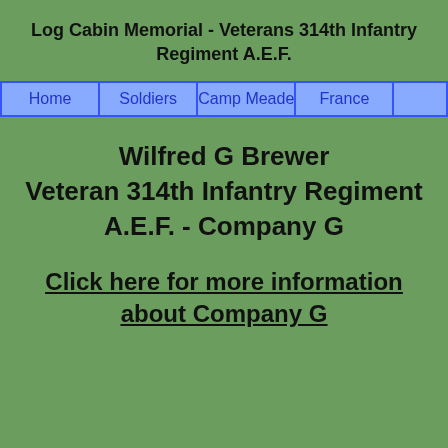Log Cabin Memorial - Veterans 314th Infantry Regiment A.E.F.
| Home | Soldiers | Camp Meade | France |  |
| --- | --- | --- | --- | --- |
Wilfred G Brewer Veteran 314th Infantry Regiment A.E.F. - Company G
Click here for more information about Company G